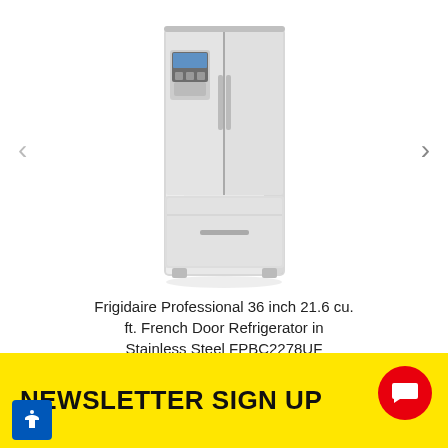[Figure (photo): Frigidaire Professional stainless steel French door refrigerator with water/ice dispenser on upper left door, shown on white background with left and right navigation arrows]
Frigidaire Professional 36 inch 21.6 cu. ft. French Door Refrigerator in Stainless Steel FPBC2278UF
★★★★☆ (426)
$2,899
NEWSLETTER SIGN UP